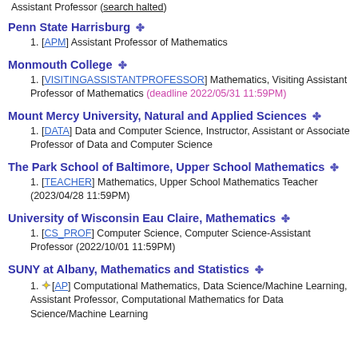Assistant Professor (search halted)
Penn State Harrisburg ❄
1. [APM] Assistant Professor of Mathematics
Monmouth College ❄
1. [VISITINGASSISTANTPROFESSOR] Mathematics, Visiting Assistant Professor of Mathematics (deadline 2022/05/31 11:59PM)
Mount Mercy University, Natural and Applied Sciences ❄
1. [DATA] Data and Computer Science, Instructor, Assistant or Associate Professor of Data and Computer Science
The Park School of Baltimore, Upper School Mathematics ❄
1. [TEACHER] Mathematics, Upper School Mathematics Teacher (2023/04/28 11:59PM)
University of Wisconsin Eau Claire, Mathematics ❄
1. [CS_PROF] Computer Science, Computer Science-Assistant Professor (2022/10/01 11:59PM)
SUNY at Albany, Mathematics and Statistics ❄
1. ★[AP] Computational Mathematics, Data Science/Machine Learning, Assistant Professor, Computational Mathematics for Data Science/Machine Learning